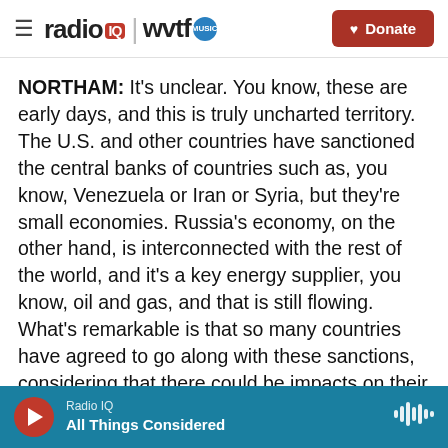[Figure (logo): Radio IQ | WVTF Music logo with hamburger menu and Donate button]
NORTHAM: It's unclear. You know, these are early days, and this is truly uncharted territory. The U.S. and other countries have sanctioned the central banks of countries such as, you know, Venezuela or Iran or Syria, but they're small economies. Russia's economy, on the other hand, is interconnected with the rest of the world, and it's a key energy supplier, you know, oil and gas, and that is still flowing. What's remarkable is that so many countries have agreed to go along with these sanctions, considering that there could be impacts on their own economies because so many of them have,
Radio IQ — All Things Considered